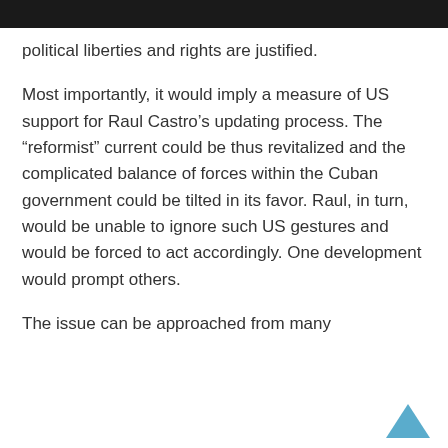political liberties and rights are justified.
Most importantly, it would imply a measure of US support for Raul Castro’s updating process. The “reformist” current could be thus revitalized and the complicated balance of forces within the Cuban government could be tilted in its favor. Raul, in turn, would be unable to ignore such US gestures and would be forced to act accordingly. One development would prompt others.
The issue can be approached from many